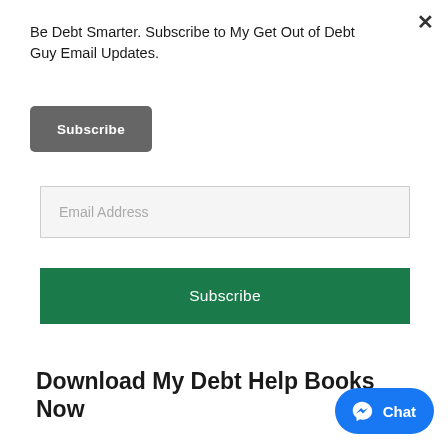Be Debt Smarter. Subscribe to My Get Out of Debt Guy Email Updates.
Subscribe
Email Address
Subscribe
Download My Debt Help Books Now
Chat